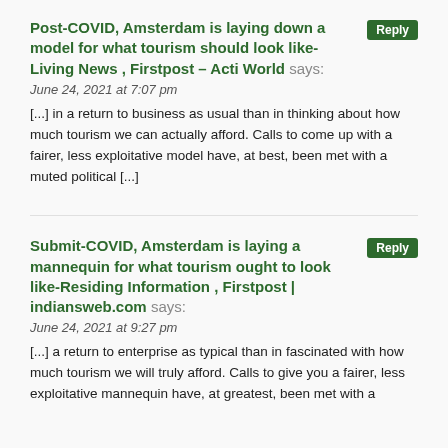Post-COVID, Amsterdam is laying do[wn a] model for what tourism should look like- Living News , Firstpost – Acti World says:
June 24, 2021 at 7:07 pm
[...] in a return to business as usual than in thinking about how much tourism we can actually afford. Calls to come up with a fairer, less exploitative model have, at best, been met with a muted political [...]
Submit-COVID, Amsterdam is laying a mannequin for what tourism ought to look like-Residing Information , Firstpost | indiansweb.com says:
June 24, 2021 at 9:27 pm
[...] a return to enterprise as typical than in fascinated with how much tourism we will truly afford. Calls to give you a fairer, less exploitative mannequin have, at greatest, been met with a